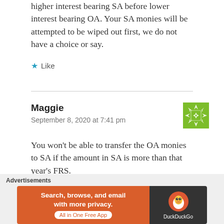higher interest bearing SA before lower interest bearing OA. Your SA monies will be attempted to be wiped out first, we do not have a choice or say.
Like
Maggie
September 8, 2020 at 7:41 pm
[Figure (illustration): Green decorative avatar icon with geometric pattern]
You won't be able to transfer the OA monies to SA if the amount in SA is more than that year's FRS.
Like
Advertisements
Search, browse, and email with more privacy. All in One Free App — DuckDuckGo